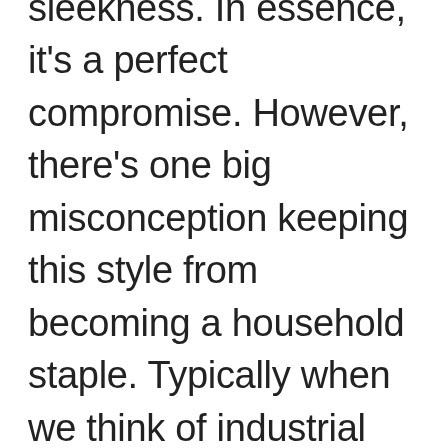sleekness. In essence, it's a perfect compromise. However, there's one big misconception keeping this style from becoming a household staple. Typically when we think of industrial design we think of lofts and big open windows and exposed brick. In the suburban atmosphere we may feel the design is not traditional enough. We are here to tell you you couldn't be further from the